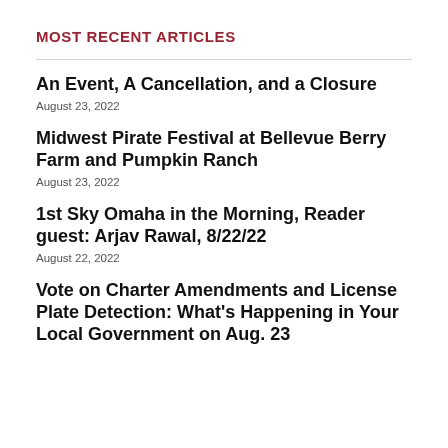MOST RECENT ARTICLES
An Event, A Cancellation, and a Closure
August 23, 2022
Midwest Pirate Festival at Bellevue Berry Farm and Pumpkin Ranch
August 23, 2022
1st Sky Omaha in the Morning, Reader guest: Arjav Rawal, 8/22/22
August 22, 2022
Vote on Charter Amendments and License Plate Detection: What's Happening in Your Local Government on Aug. 23